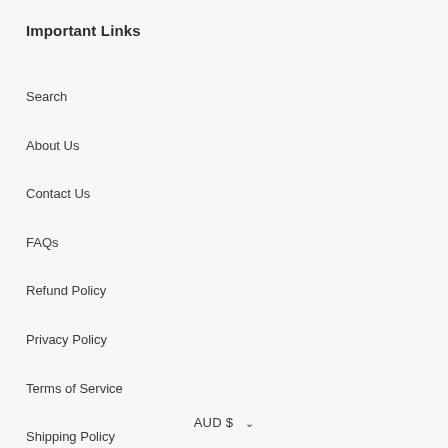Important Links
Search
About Us
Contact Us
FAQs
Refund Policy
Privacy Policy
Terms of Service
Shipping Policy
Do not sell my personal information
AUD $  ∨